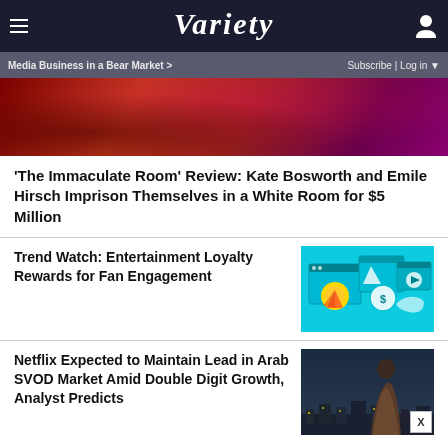VARIETY
Media Business in a Bear Market > Subscribe | Log in
[Figure (photo): Close-up of person in red/pink tones, partially visible]
‘The Immaculate Room’ Review: Kate Bosworth and Emile Hirsch Imprison Themselves in a White Room for $5 Million
Trend Watch: Entertainment Loyalty Rewards for Fan Engagement
[Figure (illustration): Teal illustration with reward badges, browser windows, dollar signs, and video play buttons]
Netflix Expected to Maintain Lead in Arab SVOD Market Amid Double Digit Growth, Analyst Predicts
[Figure (photo): Person standing outdoors at dusk with city lights in background]